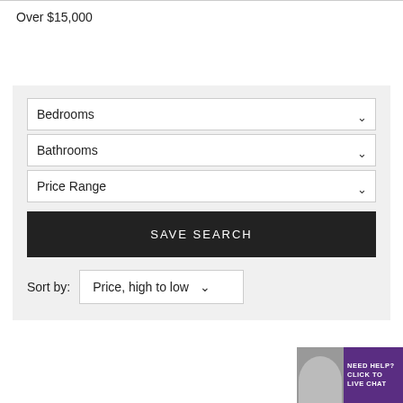Over $15,000
Bedrooms
Bathrooms
Price Range
SAVE SEARCH
Sort by: Price, high to low
[Figure (screenshot): Live chat widget with agent photo and 'NEED HELP? CLICK TO LIVE CHAT' text on purple background]